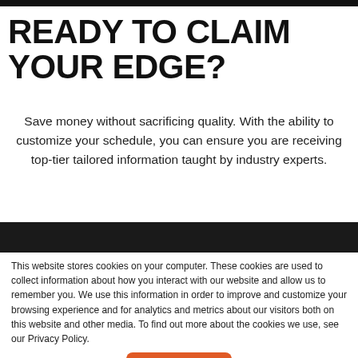READY TO CLAIM YOUR EDGE?
Save money without sacrificing quality. With the ability to customize your schedule, you can ensure you are receiving top-tier tailored information taught by industry experts.
[Figure (photo): Dark image strip showing a scene, partially visible at the top of a cookie consent overlay.]
This website stores cookies on your computer. These cookies are used to collect information about how you interact with our website and allow us to remember you. We use this information in order to improve and customize your browsing experience and for analytics and metrics about our visitors both on this website and other media. To find out more about the cookies we use, see our Privacy Policy.
Accept